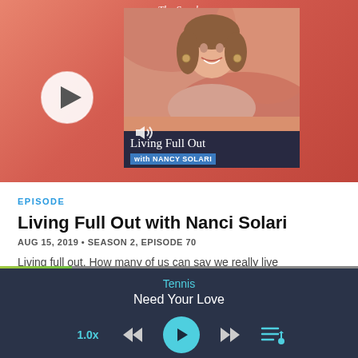[Figure (screenshot): Podcast cover artwork for 'Living Full Out with Nancy Solari' - shows a smiling woman with brown hair, coral/salmon background with geometric shapes, dark navy overlay with white serif text 'Living Full Out' and blue badge 'with NANCY SOLARI'. Text 'The Spark' appears at top. Play button circle and volume icon also visible.]
EPISODE
Living Full Out with Nanci Solari
AUG 15, 2019 • SEASON 2, EPISODE 70
Living full out. How many of us can say we really live
Tennis
Need Your Love
1.0x